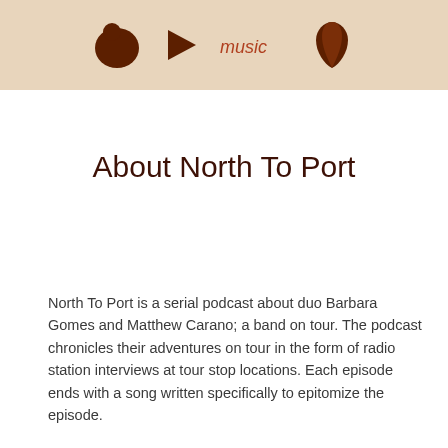[Figure (illustration): Header band with podcast platform icons (Spotify-like, play button, music text, Apple-like logo) on a warm beige/tan background]
About North To Port
North To Port is a serial podcast about duo Barbara Gomes and Matthew Carano; a band on tour. The podcast chronicles their adventures on tour in the form of radio station interviews at tour stop locations. Each episode ends with a song written specifically to epitomize the episode.